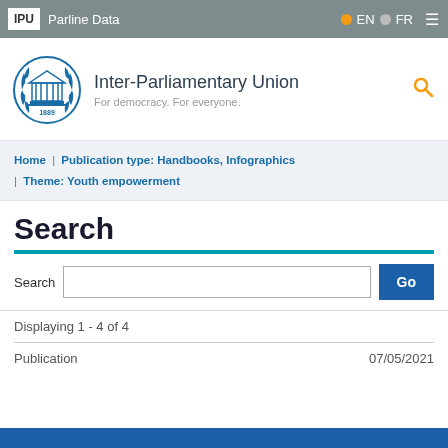IPU | Parline Data | EN | FR
[Figure (logo): Inter-Parliamentary Union logo with laurel wreath, parliamentary building and year 1889]
Inter-Parliamentary Union
For democracy. For everyone.
Home | Publication type: Handbooks, Infographics | Theme: Youth empowerment
Search
Search   Go
Displaying 1 - 4 of 4
Publication   07/05/2021